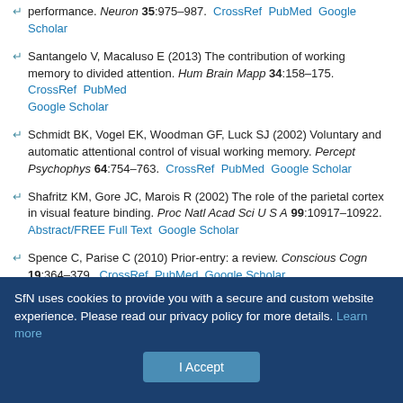performance. Neuron 35:975–987. CrossRef PubMed Google Scholar
Santangelo V, Macaluso E (2013) The contribution of working memory to divided attention. Hum Brain Mapp 34:158–175. CrossRef PubMed Google Scholar
Schmidt BK, Vogel EK, Woodman GF, Luck SJ (2002) Voluntary and automatic attentional control of visual working memory. Percept Psychophys 64:754–763. CrossRef PubMed Google Scholar
Shafritz KM, Gore JC, Marois R (2002) The role of the parietal cortex in visual feature binding. Proc Natl Acad Sci U S A 99:10917–10922. Abstract/FREE Full Text Google Scholar
Spence C, Parise C (2010) Prior-entry: a review. Conscious Cogn 19:364–379. CrossRef PubMed Google Scholar
SfN uses cookies to provide you with a secure and custom website experience. Please read our privacy policy for more details. Learn more